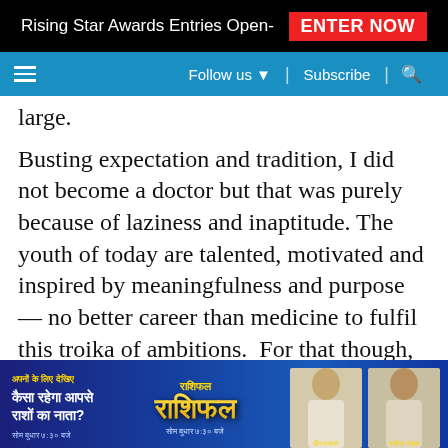Rising Star Awards Entries Open- ENTER NOW
≡   Follow us ▼  |  Subscribe  |  🔍
large.
Busting expectation and tradition, I did not become a doctor but that was purely because of laziness and inaptitude. The youth of today are talented, motivated and inspired by meaningfulness and purpose — no better career than medicine to fulfil this troika of ambitions.  For that though, we must urgently restore the stature of the doctor — as an extraordinary expert, by training and calling, and no[t]...en the
[Figure (screenshot): Advertisement overlay at bottom of page showing an Indian astrology/horoscope show ad with Hindi text 'कैसा रहेगा आपसे राशों का नाता?' and logo 'राशिफल' with two TV presenters]